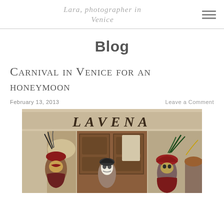Lara, photographer in Venice
Blog
Carnival in Venice for an honeymoon
February 13, 2013
Leave a Comment
[Figure (photo): Photo of people wearing traditional Venetian carnival masks and costumes in front of a shop called LAVENA]